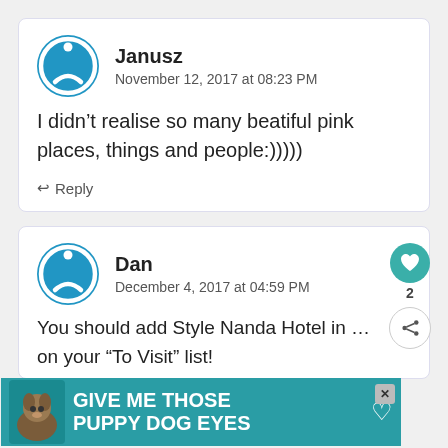[Figure (other): Comment card with avatar for user Janusz]
Janusz
November 12, 2017 at 08:23 PM
I didn't realise so many beatiful pink places, things and people:)))))
Reply
[Figure (other): Comment card with avatar for user Dan]
Dan
December 4, 2017 at 04:59 PM
You should add Style Nanda Hotel in Seo
on your "To Visit" list!
[Figure (infographic): Advertisement banner: GIVE ME THOSE PUPPY DOG EYES with dog image]